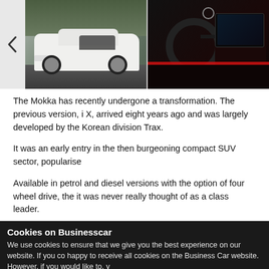[Figure (photo): Image strip showing two car photos: left photo shows a white Opel/Vauxhall Mokka SUV exterior on a road, right photo shows the Mokka interior dashboard with red accent lighting. A left navigation arrow button is visible on the left edge.]
The Mokka has recently undergone a transformation. The previous version, i X, arrived eight years ago and was largely developed by the Korean division Trax.
It was an early entry in the then burgeoning compact SUV sector, popularise
Available in petrol and diesel versions with the option of four wheel drive, the it was never really thought of as a class leader.
Sold on value, with large discounts and attractive deals often available, as w prospect than the Ford Ecosport, which arrived around the same time - but th
As Vauxhall and Opel became part of French automotive giant PSA (which re Automobiles), new models adopted Peugeot and Citroën architecture.
The first to do this was the Crossland X - now just called Crossland - which w the original Peugeot 2008 and the current Citroën C3 Aircross.
Cookies on Businesscar
We use cookies to ensure that we give you the best experience on our website. If you co happy to receive all cookies on the Business Car website. However, if you would like to, y